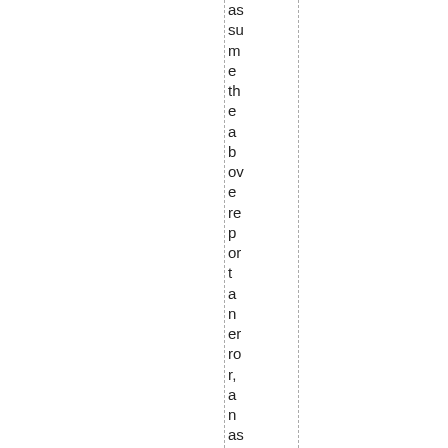assume the above report an error, an assumption. But in